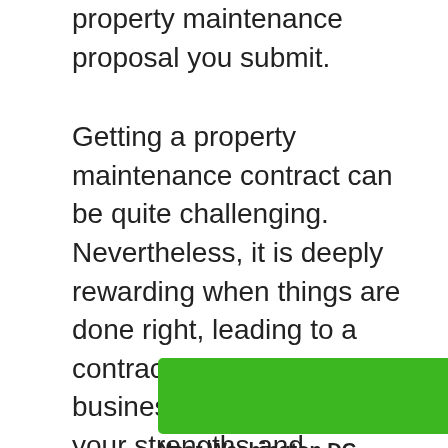property maintenance proposal you submit.
Getting a property maintenance contract can be quite challenging. Nevertheless, it is deeply rewarding when things are done right, leading to a contract agreement. As a business, you should know your strengths and leverage them as much as you can. Identify your areas of weakness and work on them too! That way, you'll be planning your business for success.
[Figure (other): Green advertisement banner with play and close icons, followed by 'Near Washington DC' text label]